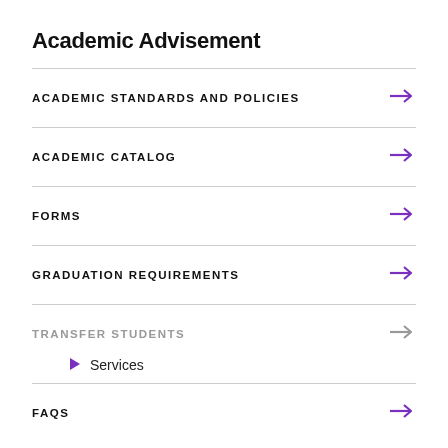Academic Advisement
ACADEMIC STANDARDS AND POLICIES
ACADEMIC CATALOG
FORMS
GRADUATION REQUIREMENTS
TRANSFER STUDENTS
Services
FAQS